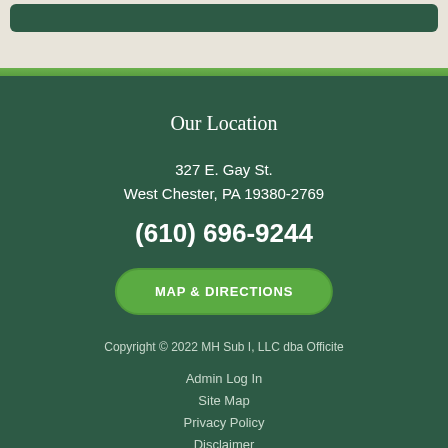Our Location
327 E. Gay St.
West Chester, PA 19380-2769
(610) 696-9244
MAP & DIRECTIONS
Copyright © 2022 MH Sub I, LLC dba Officite
Admin Log In
Site Map
Privacy Policy
Disclaimer